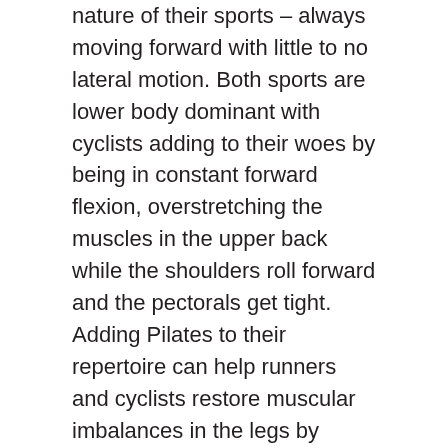nature of their sports – always moving forward with little to no lateral motion. Both sports are lower body dominant with cyclists adding to their woes by being in constant forward flexion, overstretching the muscles in the upper back while the shoulders roll forward and the pectorals get tight. Adding Pilates to their repertoire can help runners and cyclists restore muscular imbalances in the legs by increasing the flexibility of tight quadriceps and hamstrings, strengthen the adductors and abductors to help the knees be more stable. Adding hip stability by taking the legs and hips into greater ranges of motion is of utmost importance as well.
Individuals competing in all sporting endeavors can benefit from the breathing, centering and concentration that Pilates demands. Whether it be stepping into the tee box, onto the tennis court or